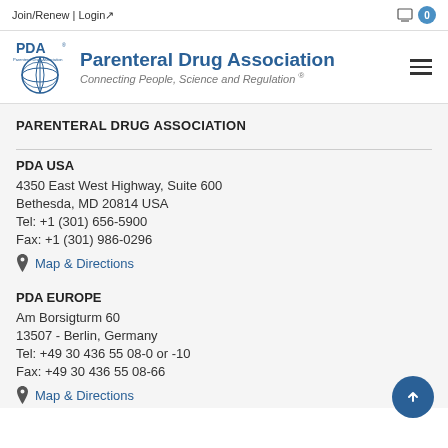Join/Renew | Login
[Figure (logo): PDA Parenteral Drug Association logo with globe graphic and tagline 'Connecting People, Science and Regulation®']
PARENTERAL DRUG ASSOCIATION
PDA USA
4350 East West Highway, Suite 600
Bethesda, MD 20814 USA
Tel: +1 (301) 656-5900
Fax: +1 (301) 986-0296
Map & Directions
PDA EUROPE
Am Borsigturm 60
13507 - Berlin, Germany
Tel: +49 30 436 55 08-0 or -10
Fax: +49 30 436 55 08-66
Map & Directions